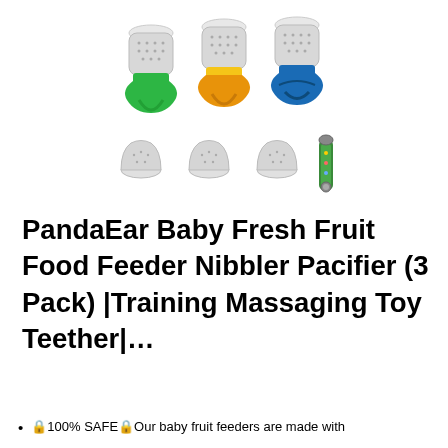[Figure (photo): Product photo of PandaEar Baby Fresh Fruit Food Feeder Nibbler set showing 3 feeders with colored handles (green, yellow/orange, blue) and silicone mesh nipples at top, plus 3 replacement silicone nipples and a decorative clip/strap at bottom]
PandaEar Baby Fresh Fruit Food Feeder Nibbler Pacifier (3 Pack) |Training Massaging Toy Teether|…
🔒100% SAFE🔒Our baby fruit feeders are made with